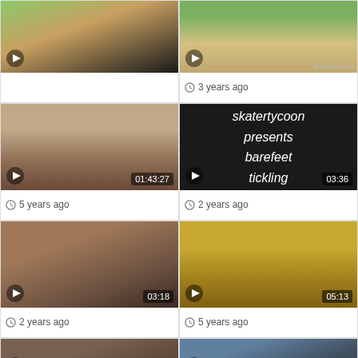[Figure (screenshot): Video thumbnail grid - top left partial, green top]
[Figure (screenshot): Video thumbnail - 3 years ago, BioDaddy.com watermark]
3 years ago
[Figure (screenshot): Video thumbnail 01:43:27 - 5 years ago]
5 years ago
[Figure (screenshot): Video thumbnail 03:36 - skatertycoon presents barefeet tickling - 2 years ago]
2 years ago
[Figure (screenshot): Video thumbnail 03:18 - 2 years ago]
2 years ago
[Figure (screenshot): Video thumbnail 05:13 - 5 years ago]
5 years ago
[Figure (screenshot): Video thumbnail 03:32 - partial bottom]
[Figure (screenshot): Video thumbnail 06:00 - partial bottom]